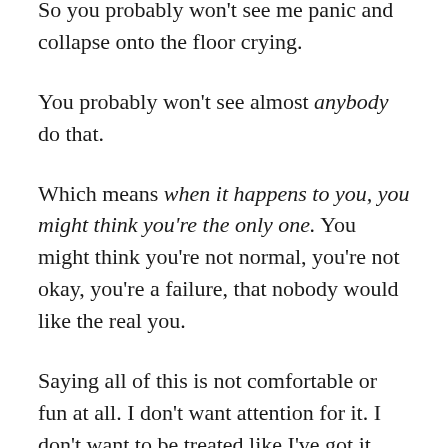So you probably won't see me panic and collapse onto the floor crying.
You probably won't see almost anybody do that.
Which means when it happens to you, you might think you're the only one. You might think you're not normal, you're not okay, you're a failure, that nobody would like the real you.
Saying all of this is not comfortable or fun at all. I don't want attention for it. I don't want to be treated like I've got it especially bad, because, all in all, I don't. I'm not making a statement about me.
I wanted to share all of this just because this